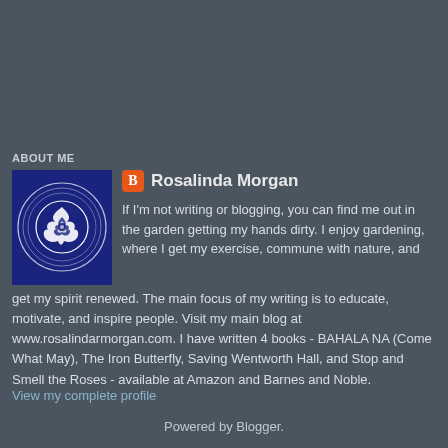ABOUT ME
[Figure (illustration): Profile photo of Rosalinda Morgan — a white rose illustration on a dark blue square background]
Rosalinda Morgan
If I'm not writing or blogging, you can find me out in the garden getting my hands dirty. I enjoy gardening, where I get my exercise, commune with nature, and get my spirit renewed. The main focus of my writing is to educate, motivate, and inspire people. Visit my main blog at www.rosalindarmorgan.com. I have written 4 books - BAHALA NA (Come What May), The Iron Butterfly, Saving Wentworth Hall, and Stop and Smell the Roses - available at Amazon and Barnes and Noble.
View my complete profile
Powered by Blogger.